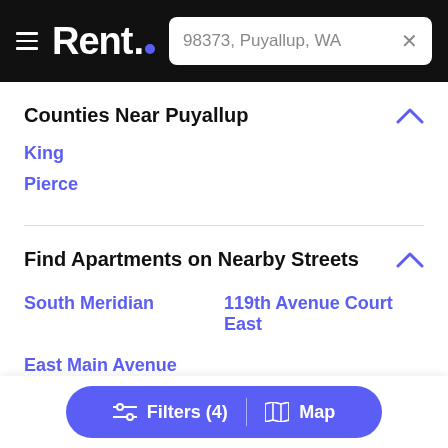Rent. — 98373, Puyallup, WA
Counties Near Puyallup
King
Pierce
Find Apartments on Nearby Streets
South Meridian
119th Avenue Court East
East Main Avenue
Filters (4)   Map